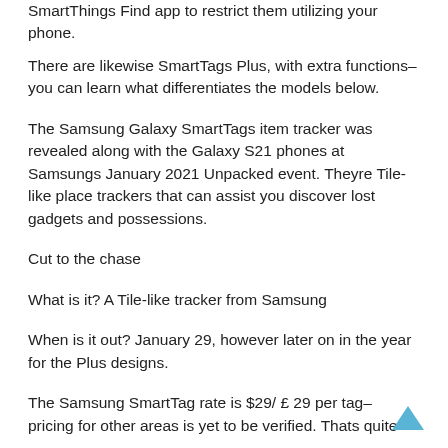SmartThings Find app to restrict them utilizing your phone.
There are likewise SmartTags Plus, with extra functions– you can learn what differentiates the models below.
The Samsung Galaxy SmartTags item tracker was revealed along with the Galaxy S21 phones at Samsungs January 2021 Unpacked event. Theyre Tile-like place trackers that can assist you discover lost gadgets and possessions.
Cut to the chase
What is it? A Tile-like tracker from Samsung
When is it out? January 29, however later on in the year for the Plus designs.
The Samsung SmartTag rate is $29/ £ 29 per tag– pricing for other areas is yet to be verified. Thats quite